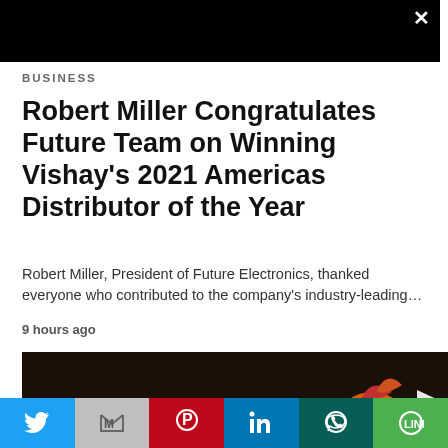[Figure (other): Black advertisement banner with close (X) button]
BUSINESS
Robert Miller Congratulates Future Team on Winning Vishay's 2021 Americas Distributor of the Year
Robert Miller, President of Future Electronics, thanked everyone who contributed to the company's industry-leading…
9 hours ago
[Figure (photo): Colorful mandarin duck on dark water background with play/arrow button overlay]
[Figure (other): Social sharing bar with Twitter, Gmail, Pinterest, LinkedIn, WhatsApp, and LINE buttons]